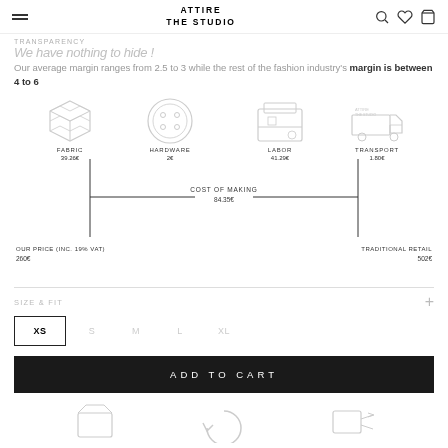ATTIRE THE STUDIO
TRANSPARENCY
We have nothing to hide !
Our average margin ranges from 2.5 to 3 while the rest of the fashion industry's margin is between 4 to 6
[Figure (infographic): Cost breakdown icons: FABRIC 39.26€, HARDWARE 2€, LABOR 41.29€, TRANSPORT 1.80€. Bracket diagram showing COST OF MAKING 84.35€. Left: OUR PRICE (INC. 19% VAT) 260€. Right: TRADITIONAL RETAIL 502€.]
SIZE & FIT
XS (selected), S, M, L, XL
ADD TO CART